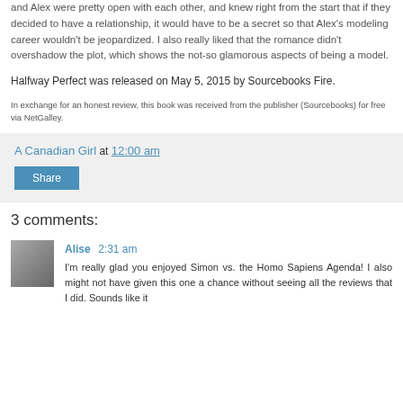and Alex were pretty open with each other, and knew right from the start that if they decided to have a relationship, it would have to be a secret so that Alex's modeling career wouldn't be jeopardized. I also really liked that the romance didn't overshadow the plot, which shows the not-so glamorous aspects of being a model.
Halfway Perfect was released on May 5, 2015 by Sourcebooks Fire.
In exchange for an honest review, this book was received from the publisher (Sourcebooks) for free via NetGalley.
A Canadian Girl at 12:00 am
Share
3 comments:
Alise 2:31 am
I'm really glad you enjoyed Simon vs. the Homo Sapiens Agenda! I also might not have given this one a chance without seeing all the reviews that I did. Sounds like it